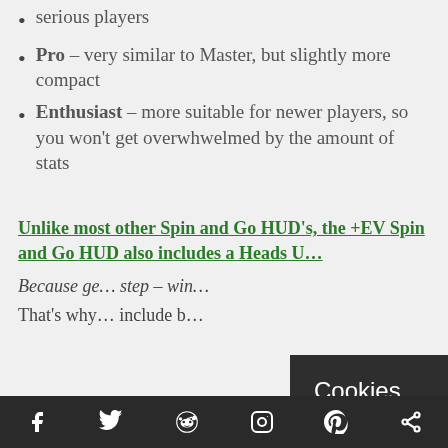serious players
Pro – very similar to Master, but slightly more compact
Enthusiast – more suitable for newer players, so you won't get overwhwelmed by the amount of stats
Unlike most other Spin and Go HUD's, the +EV Spin and Go HUD also includes a Heads U…
Because ge… step – win…
That's why… include b…
Cookies
This site uses cookies: Find out more.
Okay, thanks